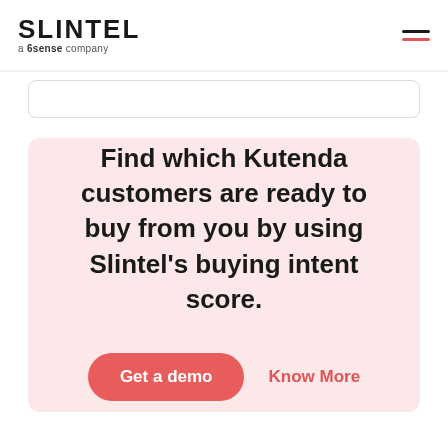SLINTEL a 6sense company
Find which Kutenda customers are ready to buy from you by using Slintel's buying intent score.
Get a demo
Know More